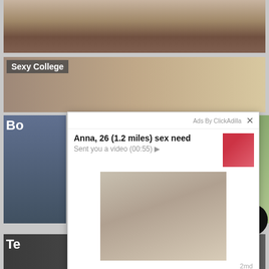[Figure (screenshot): Cropped adult content thumbnail at top of page]
[Figure (screenshot): Thumbnail labeled 'Sexy College' showing two people]
[Figure (screenshot): Partial thumbnail at lower left with label starting 'Bo']
[Figure (screenshot): Ad popup overlay: 'Anna, 26 (1.2 miles) sex need' with 'Sent you a video (00:55)' and woman photo. Ads By ClickAdilla with close button.]
[Figure (screenshot): Partial thumbnail at bottom left with label 'Te']
[Figure (screenshot): Scroll-to-top circular button at lower right]